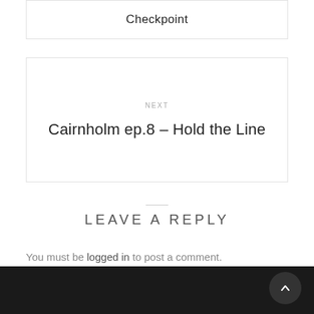Checkpoint
NEXT
Cairnholm ep.8 – Hold the Line
LEAVE A REPLY
You must be logged in to post a comment.